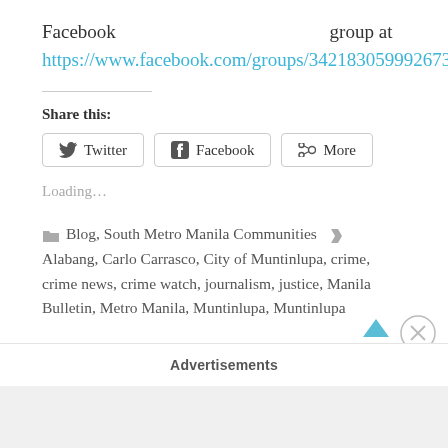Facebook group at https://www.facebook.com/groups/342183059992673
Share this:
Twitter  Facebook  More
Loading...
Blog, South Metro Manila Communities  Alabang, Carlo Carrasco, City of Muntinlupa, crime, crime news, crime watch, journalism, justice, Manila Bulletin, Metro Manila, Muntinlupa, Muntinlupa
Advertisements